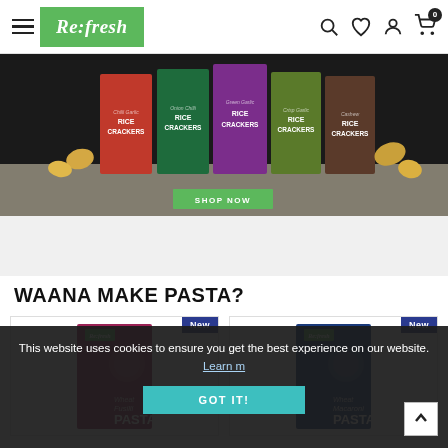[Figure (screenshot): Re:fresh grocery website navigation bar with hamburger menu, green Re:fresh logo, search icon, heart icon, user icon, and cart icon with badge showing 0]
[Figure (photo): Banner image showing multiple colorful rice cracker boxes in red, green, purple, olive, and brown varieties labeled RICE CRACKERS, with a SHOP NOW green button]
WAANA MAKE PASTA?
[Figure (photo): Product card for Wheat Fusilli PASTA in a pink/magenta box with Re:fresh logo and a New badge]
[Figure (photo): Product card for Wheat Macaroni PASTA in a blue box with Re:fresh logo and a New badge]
This website uses cookies to ensure you get the best experience on our website.
GOT IT!